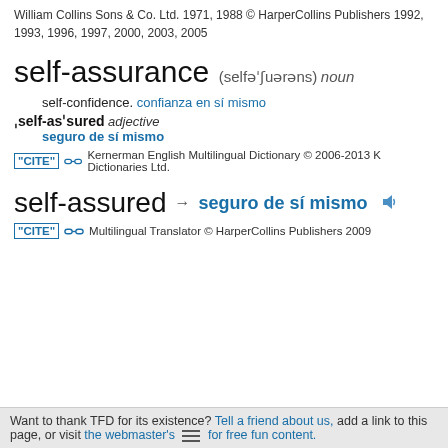William Collins Sons & Co. Ltd. 1971, 1988 © HarperCollins Publishers 1992, 1993, 1996, 1997, 2000, 2003, 2005
self-assurance
(selfəˈʃuərəns) noun
self-confidence. confianza en sí mismo
ˌself-asˈsured adjective
seguro de sí mismo
"CITE" [link icon] Kernerman English Multilingual Dictionary © 2006-2013 K Dictionaries Ltd.
self-assured
→ seguro de sí mismo [speaker icon]
"CITE" [link icon] Multilingual Translator © HarperCollins Publishers 2009
Want to thank TFD for its existence? Tell a friend about us, add a link to this page, or visit the webmaster's [menu] for free fun content.